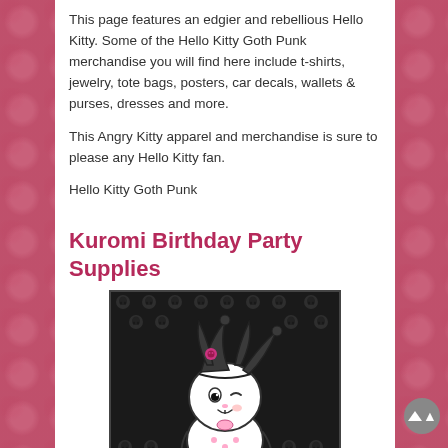This page features an edgier and rebellious Hello Kitty.  Some of the Hello Kitty Goth Punk merchandise you will find here include t-shirts, jewelry, tote bags, posters, car decals, wallets & purses, dresses and more.
This Angry Kitty apparel and merchandise is sure to please any Hello Kitty fan.
Hello Kitty Goth Punk
Kuromi Birthday Party Supplies
[Figure (illustration): Kuromi character (black and white bunny-like character with a jester hat with pink skull, winking, in white body with pink accessories) on a dark background with repeated small grey skull pattern.]